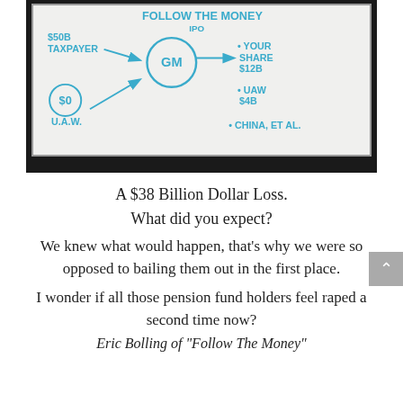[Figure (photo): Photo of a whiteboard diagram showing GM bailout money flow: $50B from Taxpayer via IPO to GM circle, then to Your Share $12B, UAW $4B, China et al. UAW listed as receiving $0 input.]
A $38 Billion Dollar Loss.
What did you expect?
We knew what would happen, that’s why we were so opposed to bailing them out in the first place.
I wonder if all those pension fund holders feel raped a second time now?
Eric Bolling of “Follow The Money”